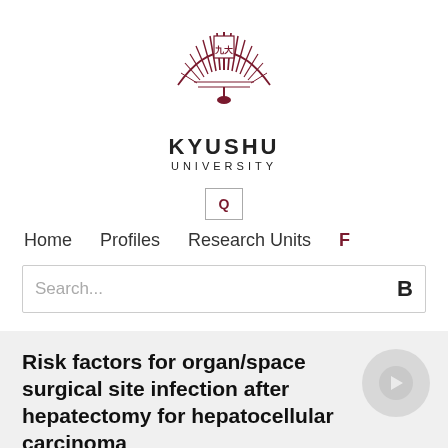[Figure (logo): Kyushu University logo — a circular emblem with radiating feather/leaf motifs and university crest in dark red/maroon]
KYUSHU
UNIVERSITY
[Figure (other): Search icon box with letter Q]
Home   Profiles   Research Units   F
Search...
Risk factors for organ/space surgical site infection after hepatectomy for hepatocellular carcinoma